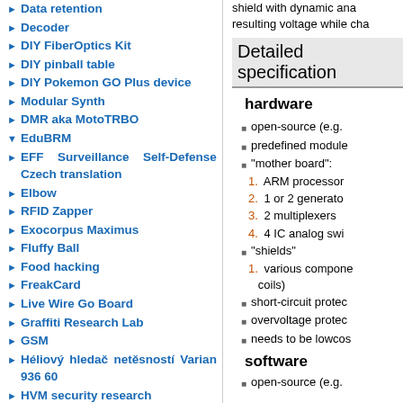Data retention
Decoder
DIY FiberOptics Kit
DIY pinball table
DIY Pokemon GO Plus device
Modular Synth
DMR aka MotoTRBO
EduBRM
EFF Surveillance Self-Defense Czech translation
Elbow
RFID Zapper
Exocorpus Maximus
Fluffy Ball
Food hacking
FreakCard
Live Wire Go Board
Graffiti Research Lab
GSM
Héliový hledač netěsností Varian 936 60
HVM security research
k<2wm
shield with dynamic ana resulting voltage while cha
Detailed specification
hardware
open-source (e.g.
predefined module
"mother board":
1. ARM processor
2. 1 or 2 generato
3. 2 multiplexers
4. 4 IC analog swi
"shields"
1. various compone coils)
short-circuit protec
overvoltage protec
needs to be lowcos
software
open-source (e.g.